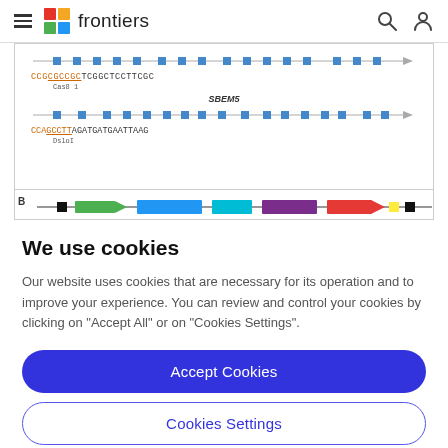frontiers
[Figure (illustration): Genomic diagram showing CRISPR guide RNA sequences for Cas8 and DsloI targets with SBEM5 gene region, with blue square markers indicating guide positions along the gene. Panel B shows a schematic gene map with colored blocks representing gene segments.]
We use cookies
Our website uses cookies that are necessary for its operation and to improve your experience. You can review and control your cookies by clicking on "Accept All" or on "Cookies Settings".
Accept Cookies
Cookies Settings